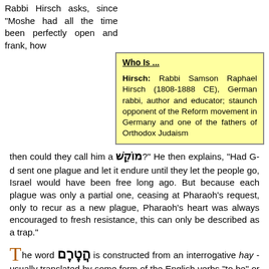Rabbi Hirsch asks, since "Moshe had all the time been perfectly open and frank, how then could they call him a מוֹקֵשׁ?" He then explains, "Had G-d sent one plague and let it endure until they let the people go, Israel would have been free long ago. But because each plague was only a partial one, ceasing at Pharaoh's request, only to recur as a new plague, Pharaoh's heart was always encouraged to fresh resistance, this can only be described as a trap."
Who Is ...
Hirsch: Rabbi Samson Raphael Hirsch (1808-1888 CE), German rabbi, author and educator; staunch opponent of the Reform movement in Germany and one of the fathers of Orthodox Judaism
The word הֲטֶרֶם is constructed from an interrogative hay - usually translated by some form of the English verbs "to be" or "to have" to convert a phrase into a question - and the adverb טֶרֶם that can mean "not yet" or sometimes "before". It appears